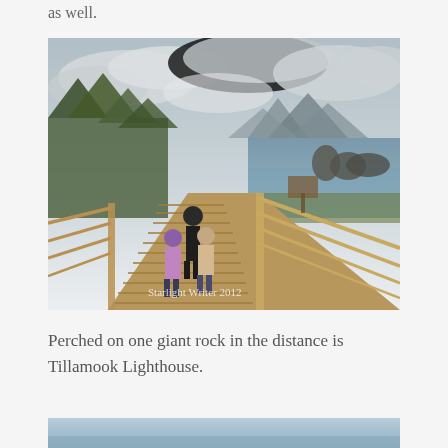as well.
[Figure (photo): People walking on a wooden boardwalk along the Oregon coast with ocean, sea stacks, mountains, and dramatic cloudy sky in the background. Watermark reads 'Starlight Writer 2012'.]
Perched on one giant rock in the distance is Tillamook Lighthouse.
[Figure (photo): Partial view of second coastal photo, showing sky and water at the bottom of the page.]